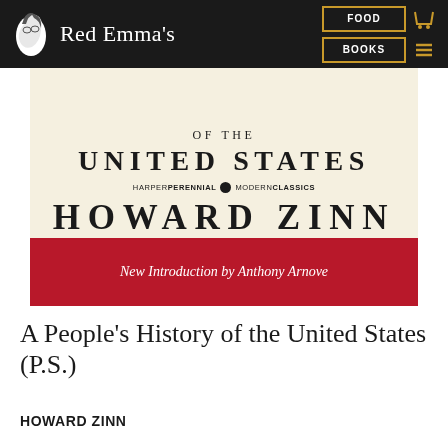Red Emma's | FOOD | BOOKS
[Figure (photo): Book cover of 'A People's History of the United States' by Howard Zinn, HarperPerennial Modern Classics edition, with cream background, large title text, and red band reading 'New Introduction by Anthony Arnove']
A People's History of the United States (P.S.)
HOWARD ZINN